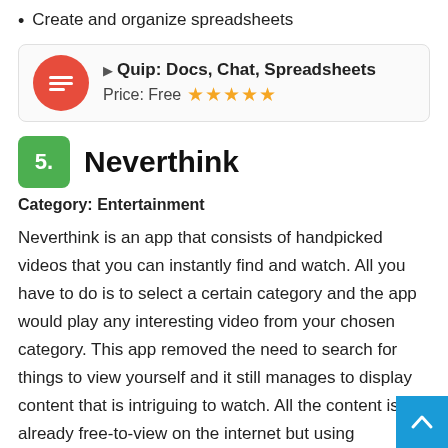Create and organize spreadsheets
[Figure (other): App card for Quip: Docs, Chat, Spreadsheets showing app icon (red circle with chat lines), play button, app name, price Free, and 5 gold stars rating]
5. Neverthink
Category: Entertainment
Neverthink is an app that consists of handpicked videos that you can instantly find and watch. All you have to do is to select a certain category and the app would play any interesting video from your chosen category. This app removed the need to search for things to view yourself and it still manages to display content that is intriguing to watch. All the content is already free-to-view on the internet but using Neverthink you can find every sort of viral and interesting content with less the